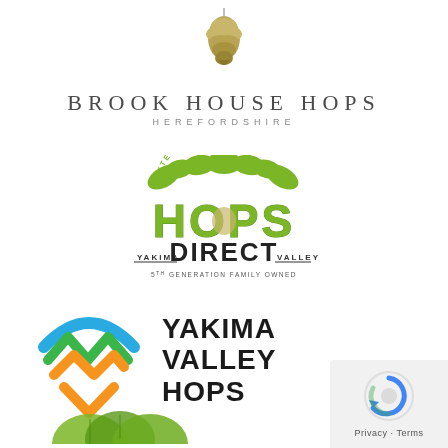[Figure (logo): Brook House Hops logo: a hop cone illustration above the text BROOK HOUSE HOPS in spaced serif letters, with HEREFORDSHIRE in small spaced caps below]
[Figure (logo): Puterbaugh Farms Hops Direct logo: green illustrated hops leaves at top, HOPS in large distressed green block letters, DIRECT in bold dark letters, YAKIMA and VALLEY flanking DIRECT with underlines, 5th Generation Family Owned tagline]
[Figure (logo): Yakima Valley Hops logo: colorful mountain/zigzag chevron icon in blue, green, and yellow/orange on left; YAKIMA VALLEY HOPS in bold black text on right]
[Figure (logo): Partial bottom hop cone/leaf illustration, cropped at page bottom]
[Figure (other): Google reCAPTCHA widget overlay in bottom right corner, with Privacy · Terms text]